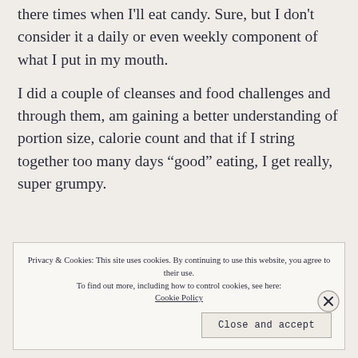there times when I'll eat candy. Sure, but I don't consider it a daily or even weekly component of what I put in my mouth.
I did a couple of cleanses and food challenges and through them, am gaining a better understanding of portion size, calorie count and that if I string together too many days “good” eating, I get really, super grumpy.
Privacy & Cookies: This site uses cookies. By continuing to use this website, you agree to their use.
To find out more, including how to control cookies, see here: Cookie Policy
Close and accept